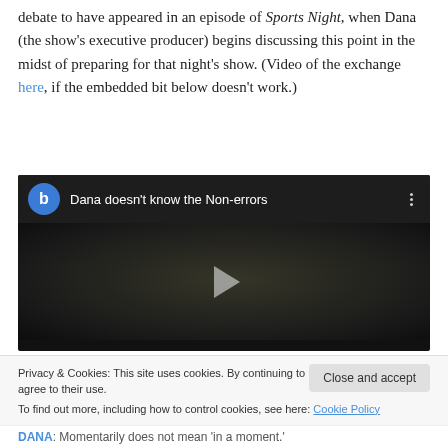debate to have appeared in an episode of Sports Night, when Dana (the show's executive producer) begins discussing this point in the midst of preparing for that night's show. (Video of the exchange here, if the embedded bit below doesn't work.)
[Figure (screenshot): Embedded video player with dark background showing a face, title bar reading 'Dana doesn't know the Non-errors' with a blue circular 'b' icon, play button in center, and three-dot menu.]
Privacy & Cookies: This site uses cookies. By continuing to use this website, you agree to their use.
To find out more, including how to control cookies, see here: Cookie Policy
Close and accept
DANA: Momentarily does not mean 'in a moment.'